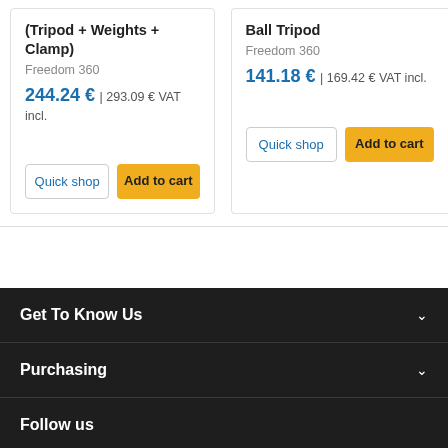(Tripod + Weights + Clamp)
Freedom 360
244.24 € | 293.09 € VAT incl.
Quick shop
Add to cart
Ball Tripod
Freedom 360
141.18 € | 169.42 € VAT incl.
Quick shop
Add to cart
Get To Know Us
Purchasing
Follow us